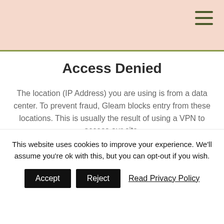Access Denied
The location (IP Address) you are using is from a data center. To prevent fraud, Gleam blocks entry from these locations. This is usually the result of using a VPN to access our site.
Please turn off your VPN and try again.
RELOAD
This website uses cookies to improve your experience. We'll assume you're ok with this, but you can opt-out if you wish. Accept  Reject  Read Privacy Policy